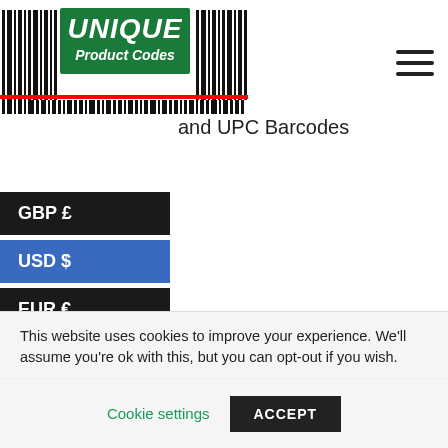[Figure (logo): Unique Product Codes logo with green box, white italic text 'UNIQUE Product Codes', surrounded by barcode stripes and a red scan line]
and UPC Barcodes
GBP £
USD $
EUR €
EAN/UPC Barcodes / 1 UPC/EAN Barcodes
1 UPC/EAN Barcodes
This website uses cookies to improve your experience. We'll assume you're ok with this, but you can opt-out if you wish.
Cookie settings   ACCEPT